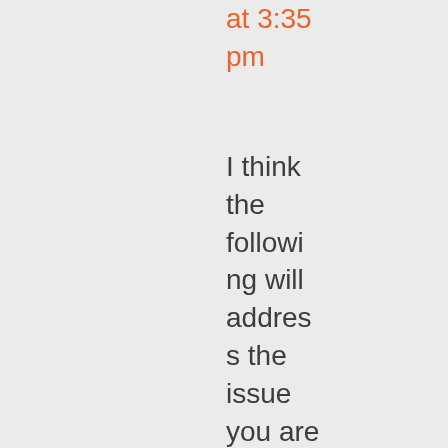at 3:35 pm
I think the following will address the issue you are describing. Set the ellipsis